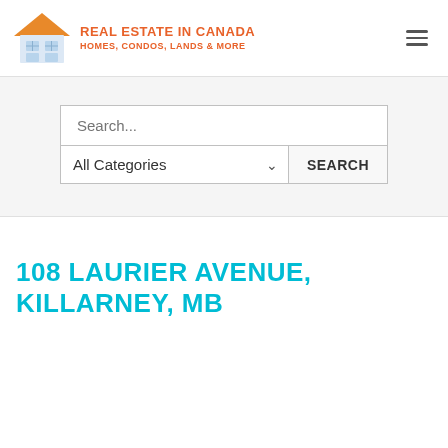[Figure (logo): Real Estate in Canada website logo: house icon with orange roof and light blue window panes, with text 'REAL ESTATE IN CANADA' and 'HOMES, CONDOS, LANDS & MORE' in orange]
Search...
All Categories
SEARCH
108 LAURIER AVENUE, KILLARNEY, MB